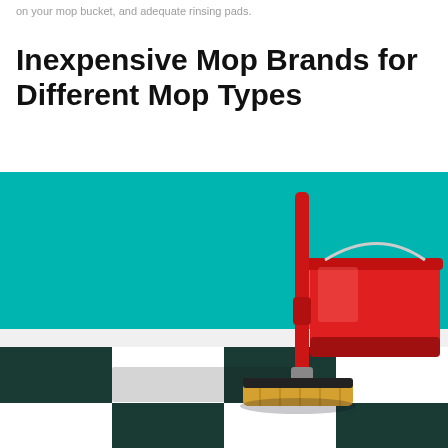on your mop bucket, and adequate rinsing pads.
Inexpensive Mop Brands for Different Mop Types
[Figure (photo): A sponge mop with a red handle resting against a red bucket on a black and white checkered tile floor with a teal wall in the background.]